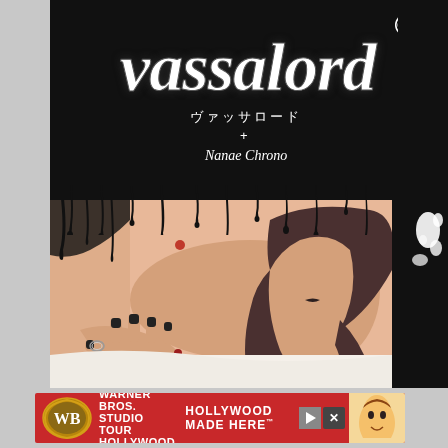[Figure (illustration): Vassalord manga volume cover. Black background top section with gothic white title text 'vassalord', Japanese subtitle 'ヴァッサロード', a plus symbol, and author name 'Nanae Chrono'. Black drip effect transitions to manga illustration of a long-haired character lying down with dark nails and a ring. Tokyopop publisher logo on right spine. White paint splatter marks on far right.]
[Figure (infographic): Warner Bros. Studio Tour Hollywood advertisement banner. Red background with WB shield logo, text 'WARNER BROS. STUDIO TOUR HOLLYWOOD', tagline 'HOLLYWOOD MADE HERE', animated character image on right. Play and close buttons on right side.]